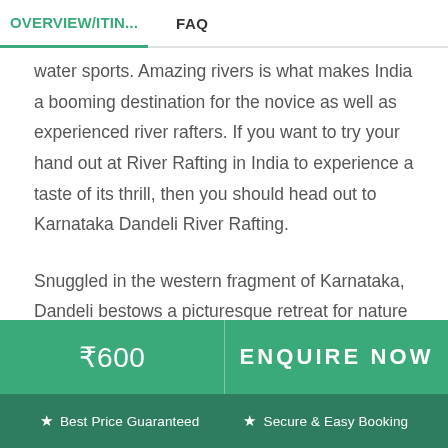OVERVIEW/ITIN... | FAQ
water sports. Amazing rivers is what makes India a booming destination for the novice as well as experienced river rafters. If you want to try your hand out at River Rafting in India to experience a taste of its thrill, then you should head out to Karnataka Dandeli River Rafting.
Snuggled in the western fragment of Karnataka, Dandeli bestows a picturesque retreat for nature enthusiasts and adventure fanatics. The varied natural topographies of Dandeli comprise mountains, rivers, lush sceneries and caves. Th...
₹600 | ENQUIRE NOW
★ Best Price Guaranteed  ★ Secure & Easy Booking